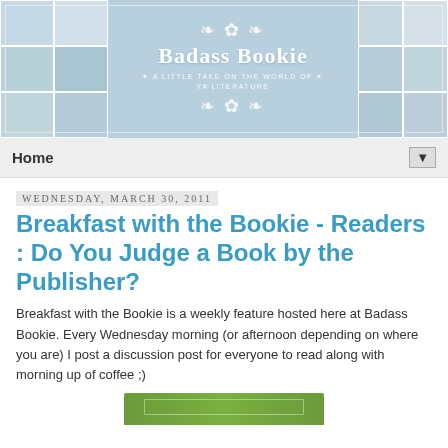[Figure (illustration): Badass Bookie blog banner with light blue background, book cover collage photos on left and right sides, ornamental scrollwork, blog title 'Badass Bookie' in white serif font, subtitle 'A Little Take On The World Of YA Literature']
Home ▼
Wednesday, March 30, 2011
Breakfast with the Bookie - Readers : Do You Judge a Book by the Publisher?
Breakfast with the Bookie is a weekly feature hosted here at Badass Bookie. Every Wednesday morning (or afternoon depending on where you are) I post a discussion post for everyone to read along with morning up of coffee ;)
[Figure (illustration): Partial green decorative banner/image at the bottom of the page]